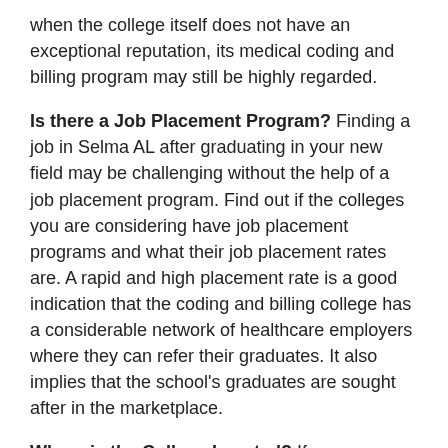when the college itself does not have an exceptional reputation, its medical coding and billing program may still be highly regarded.
Is there a Job Placement Program? Finding a job in Selma AL after graduating in your new field may be challenging without the help of a job placement program. Find out if the colleges you are considering have job placement programs and what their job placement rates are. A rapid and high placement rate is a good indication that the coding and billing college has a considerable network of healthcare employers where they can refer their graduates. It also implies that the school's graduates are sought after in the marketplace.
Where is the College Located? If you are planning on driving to class from your Selma AL residence, then the location of the campus will be of significant importance. Naturally if you select an online medical coding and